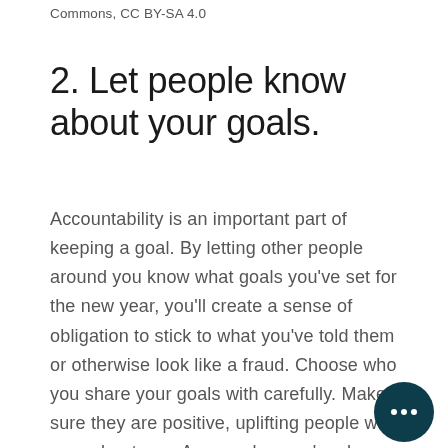Commons, CC BY-SA 4.0
2. Let people know about your goals.
Accountability is an important part of keeping a goal. By letting other people around you know what goals you've set for the new year, you'll create a sense of obligation to stick to what you've told them or otherwise look like a fraud. Choose who you share your goals with carefully. Make sure they are positive, uplifting people who care about you. A co-worker you're close with, your best friend, or a parent might be a good choice. They'll want to see you succeed and be there to offer support and